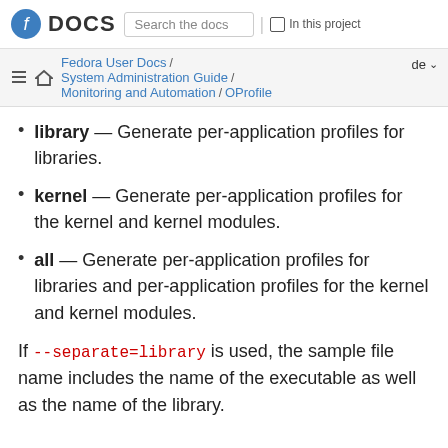Fedora DOCS — Search the docs | In this project — Fedora User Docs / System Administration Guide / Monitoring and Automation / OProfile
library — Generate per-application profiles for libraries.
kernel — Generate per-application profiles for the kernel and kernel modules.
all — Generate per-application profiles for libraries and per-application profiles for the kernel and kernel modules.
If --separate=library is used, the sample file name includes the name of the executable as well as the name of the library.